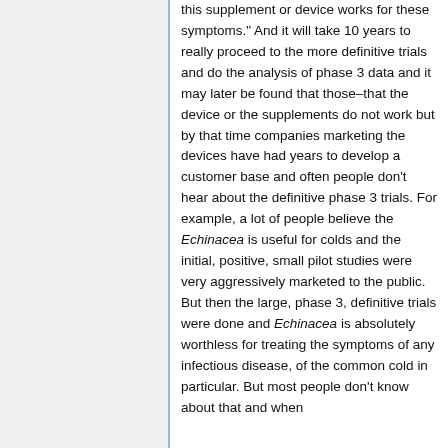this supplement or device works for these symptoms." And it will take 10 years to really proceed to the more definitive trials and do the analysis of phase 3 data and it may later be found that those–that the device or the supplements do not work but by that time companies marketing the devices have had years to develop a customer base and often people don't hear about the definitive phase 3 trials. For example, a lot of people believe the Echinacea is useful for colds and the initial, positive, small pilot studies were very aggressively marketed to the public. But then the large, phase 3, definitive trials were done and Echinacea is absolutely worthless for treating the symptoms of any infectious disease, of the common cold in particular. But most people don't know about that and when